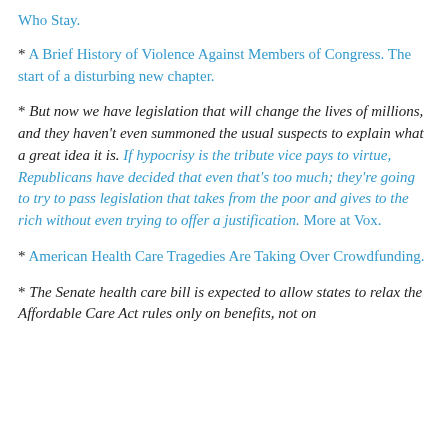Who Stay.
* A Brief History of Violence Against Members of Congress. The start of a disturbing new chapter.
* But now we have legislation that will change the lives of millions, and they haven't even summoned the usual suspects to explain what a great idea it is. If hypocrisy is the tribute vice pays to virtue, Republicans have decided that even that's too much; they're going to try to pass legislation that takes from the poor and gives to the rich without even trying to offer a justification. More at Vox.
* American Health Care Tragedies Are Taking Over Crowdfunding.
* The Senate health care bill is expected to allow states to relax the Affordable Care Act rules only on benefits, not on